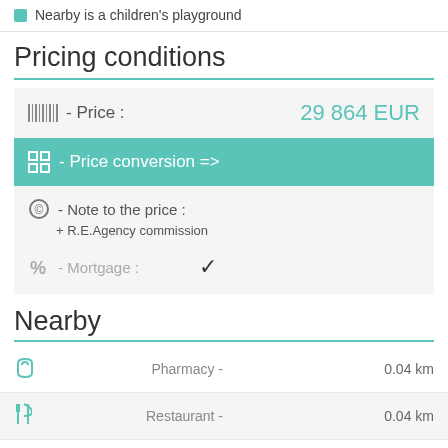Nearby is a children's playground
Pricing conditions
|  | Field | Value |
| --- | --- | --- |
| [barcode] | - Price : | 29 864 EUR |
| [grid] | - Price conversion => |  |
| [circle] | - Note to the price : |  |
|  | + R.E.Agency commission |  |
| [%] | - Mortgage : | ✓ |
Nearby
| Icon | Name | Distance |
| --- | --- | --- |
| [bag] | Pharmacy - | 0.04 km |
| [fork] | Restaurant - | 0.04 km |
| [bag] | Supermarket - | 0.04 km |
| [$] | Bank - | 0.06 km |